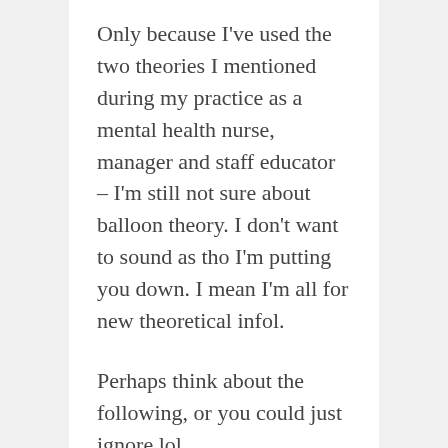Only because I've used the two theories I mentioned during my practice as a mental health nurse, manager and staff educator – I'm still not sure about balloon theory. I don't want to sound as tho I'm putting you down. I mean I'm all for new theoretical infol.
Perhaps think about the following, or you could just ignore lol.
Because we're are filled with a certain amount of air anyway, I'm not sure that a flat balloon will work. Perhaps you could think of a more solid structure...